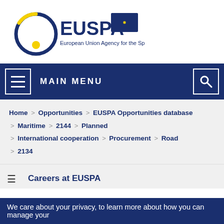[Figure (logo): EUSPA logo — European Union Agency for the Space Programme, with circular blue/yellow emblem and EU flag]
MAIN MENU
Home > Opportunities > EUSPA Opportunities database > Maritime > 2144 > Planned > International cooperation > Procurement > Road > 2134
≡  Careers at EUSPA
We care about your privacy, to learn more about how you can manage your